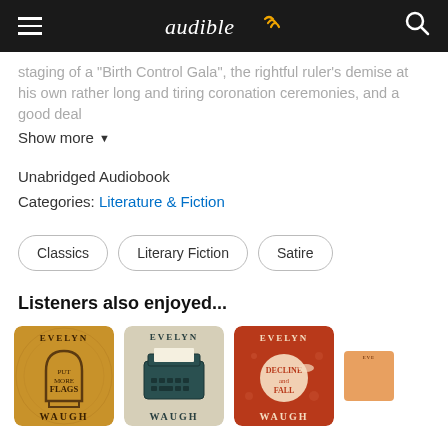audible
staging of a "Birth Control Gala", the rightful ruler's demise at his own rather long and tiring coronation ceremonies, and a good deal
Show more
Unabridged Audiobook
Categories: Literature & Fiction
Classics
Literary Fiction
Satire
Listeners also enjoyed...
[Figure (illustration): Book cover: Evelyn Waugh - Put More Flags, gold/yellow background with decorative arch illustration]
[Figure (illustration): Book cover: Evelyn Waugh - typewriter illustration on beige background]
[Figure (illustration): Book cover: Evelyn Waugh - Decline and Fall, red/orange background]
[Figure (illustration): Book cover: Evelyn Waugh - partial view, orange background]